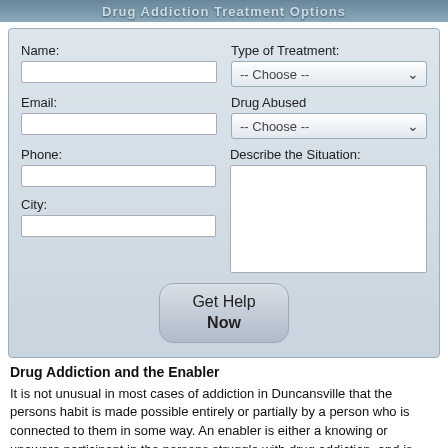Drug Addiction Treatment Options
[Figure (screenshot): Web form with fields: Name, Email, Phone, City (left column); Type of Treatment dropdown, Drug Abused dropdown, Describe the Situation textarea (right column); Get Help Now button at bottom]
Drug Addiction and the Enabler
It is not unusual in most cases of addiction in Duncansville that the persons habit is made possible entirely or partially by a person who is connected to them in some way. An enabler is either a knowing or unaware participant in the persons struggle with drug addiction, and is someone who makes their addiction possible or less difficult to continue on. The act of enabling is typically done out of "concern" or "worry", but is more harmful than good in the end. A good example of an enabler is a family member or partner who provides an addicted individual any kind of financing, housing, transportation, and may even obtain the individual's drug for them. The logic behind this is often that the enabling is helping